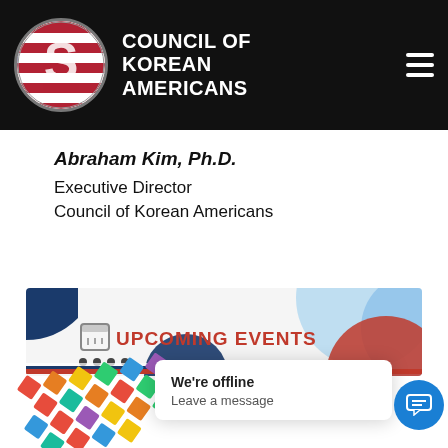COUNCIL OF KOREAN AMERICANS
Abraham Kim, Ph.D.
Executive Director
Council of Korean Americans
[Figure (infographic): Upcoming Events banner with calendar icon, colorful circles in blue and red, dots, and red/blue stripe at bottom]
[Figure (infographic): Colorful diamond/rhombus pattern in lower left]
We're offline
Leave a message